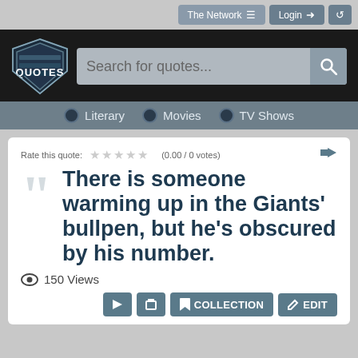The Network  Login
[Figure (logo): Quotes website logo — a shield shaped badge with the word QUOTES in bold white letters on dark blue/black background]
Search for quotes...
Literary  Movies  TV Shows
Rate this quote:  ☆☆☆☆☆ (0.00 / 0 votes)
There is someone warming up in the Giants' bullpen, but he's obscured by his number.
150 Views
COLLECTION  EDIT